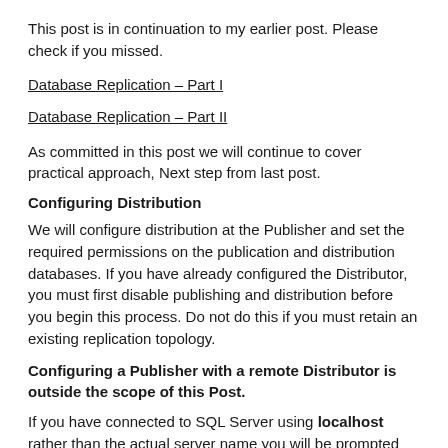This post is in continuation to my earlier post. Please check if you missed.
Database Replication – Part I
Database Replication – Part II
As committed in this post we will continue to cover practical approach, Next step from last post.
Configuring Distribution
We will configure distribution at the Publisher and set the required permissions on the publication and distribution databases. If you have already configured the Distributor, you must first disable publishing and distribution before you begin this process. Do not do this if you must retain an existing replication topology.
Configuring a Publisher with a remote Distributor is outside the scope of this Post.
If you have connected to SQL Server using localhost rather than the actual server name you will be prompted with a